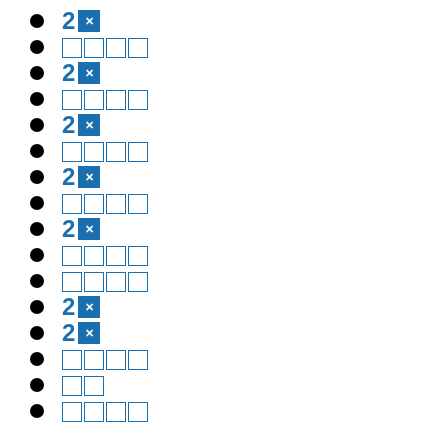2⚠ [icon]
□□□□
2⚠ [icon]
□□□□
2⚠ [icon]
□□□□
2⚠ [icon]
□□□□
2⚠ [icon]
□□□□
□□□□
2⚠ [icon]
2⚠ [icon]
□□□□
□□
□□□□